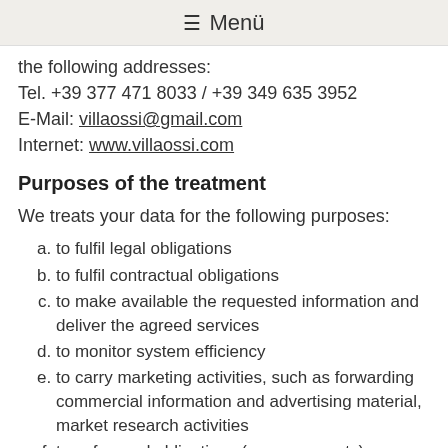≡ Menü
the following addresses:
Tel. +39 377 471 8033 / +39 349 635 3952
E-Mail: villaossi@gmail.com
Internet: www.villaossi.com
Purposes of the treatment
We treats your data for the following purposes:
to fulfil legal obligations
to fulfil contractual obligations
to make available the requested information and deliver the agreed services
to monitor system efficiency
to carry marketing activities, such as forwarding commercial information and advertising material, market research activities
to safeguard obligations (e.g.: payments)